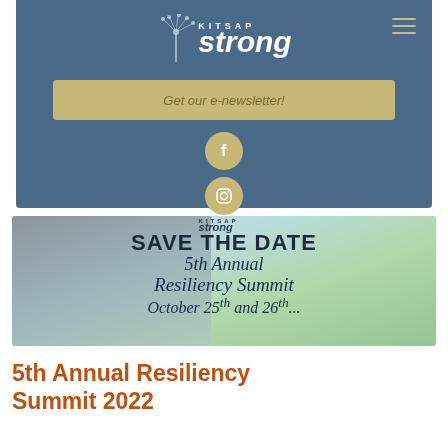[Figure (screenshot): Kitsap Strong website banner with dark blue background, dandelion logo, KITSAP STRONG text, hamburger menu, 'Get our e-newsletter!' button in tan/gold, Facebook and Instagram social icons]
[Figure (screenshot): Save the Date banner for 5th Annual Resiliency Summit with landscape background split between stormy sky and sunny yellow field, overlaid with Kitsap Strong logo and event text]
5th Annual Resiliency Summit 2022